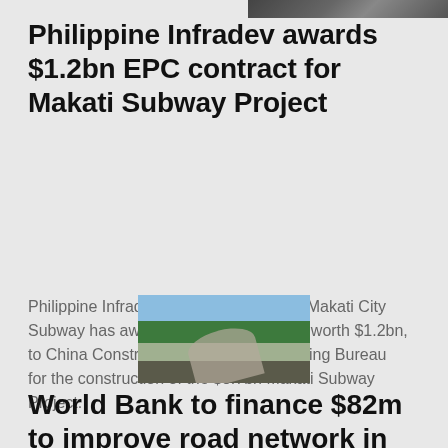[Figure (photo): Partial view of a dark image, likely aerial or ground-level infrastructure photo, cropped at top of page]
Philippine Infradev awards $1.2bn EPC contract for Makati Subway Project
Philippine Infradev's wholly-owned unit Makati City Subway has awarded an EPC contract, worth $1.2bn, to China Construction Second Engineering Bureau for the construction of the $3.7bn Makati Subway Project.
[Figure (photo): Aerial or elevated view of a winding road through a hillside town with green trees and buildings, likely in Himachal Pradesh, India]
World Bank to finance $82m to improve road network in Himachal